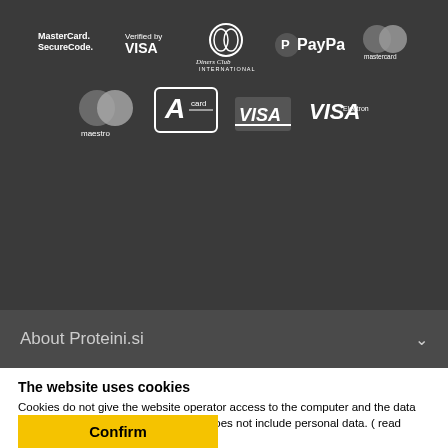[Figure (logo): Payment method logos: MasterCard SecureCode, Verified by VISA, Diners Club International, PayPal, Mastercard, Maestro, A card, VISA, VISA Electron]
About Proteini.si
The website uses cookies
Cookies do not give the website operator access to the computer and the data collected in this way through cookies does not include personal data. ( read more )
settings
Confirm